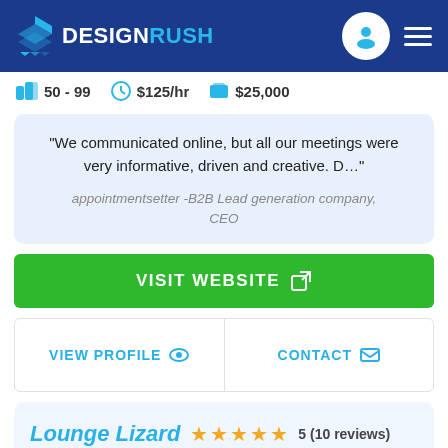DESIGNRUSH
50-99   $125/hr   $25,000
"We communicated online, but all our meetings were very informative, driven and creative. D…" appointmentsetter -B2B Lead generation company, CEO
VISIT WEBSITE
VIEW PROFILE   CONTACT
Lounge Lizard  5 (10 reviews)